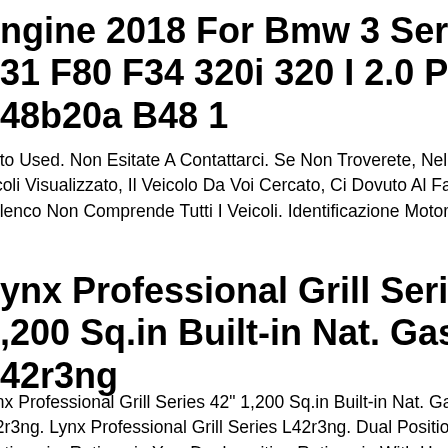Engine 2018 For Bmw 3 Series F30 F31 F80 F34 320i 320 I 2.0 Petrol B48b20a B48 1
ato Used. Non Esitate A Contattarci. Se Non Troverete, Nell'elenco D icoli Visualizzato, Il Veicolo Da Voi Cercato, Ci Dovuto Al Fatto Che elenco Non Comprende Tutti I Veicoli. Identificazione Motore.
Lynx Professional Grill Series 42" 1,200 Sq.in Built-in Nat. Gas Grill L42r3ng
nx Professional Grill Series 42" 1,200 Sq.in Built-in Nat. Gas Grill 2r3ng. Lynx Professional Grill Series L42r3ng. Dual Position otisserie. Rotisserie Yes. Dual-position Rotisserie With Heavy-duty, 3 d Motorized Spit for a 44,000 Btu...